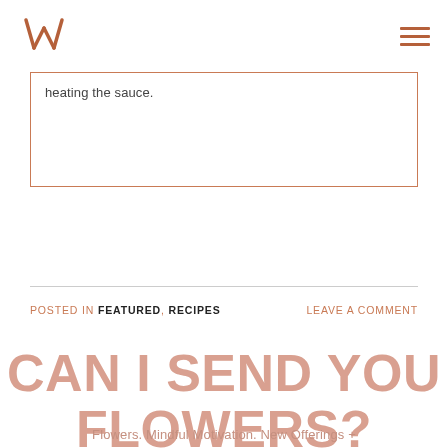Logo and navigation menu
heating the sauce.
POSTED IN FEATURED, RECIPES
LEAVE A COMMENT
CAN I SEND YOU FLOWERS?
Flowers. Mindful Motivation. New Offerings + Workshops. No fluff. Delivered to your inbox.